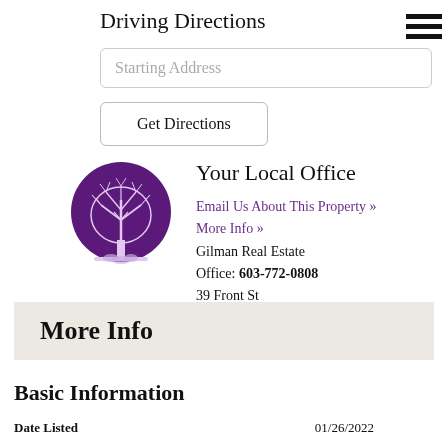Driving Directions
[Figure (screenshot): Text input field with placeholder 'Starting Address']
[Figure (screenshot): Button labeled 'Get Directions']
[Figure (logo): Gilman Real Estate logo: tree silhouette on purple circle background]
Your Local Office
Email Us About This Property »
More Info »
Gilman Real Estate
Office: 603-772-0808
39 Front St
Exeter, NH 03833
More Info
Basic Information
Date Listed	01/26/2022